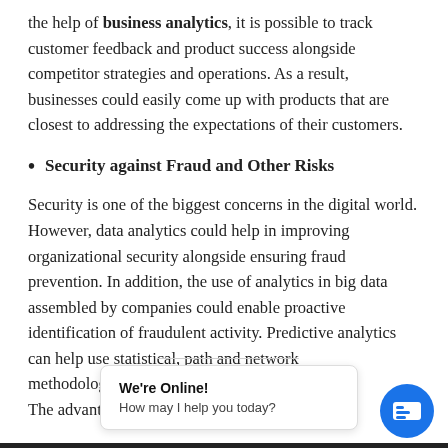the help of business analytics, it is possible to track customer feedback and product success alongside competitor strategies and operations. As a result, businesses could easily come up with products that are closest to addressing the expectations of their customers.
Security against Fraud and Other Risks
Security is one of the biggest concerns in the digital world. However, data analytics could help in improving organizational security alongside ensuring fraud prevention. In addition, the use of analytics in big data assembled by companies could enable proactive identification of fraudulent activity. Predictive analytics can help use statistical, path and network methodologies to p... The advantage of re...